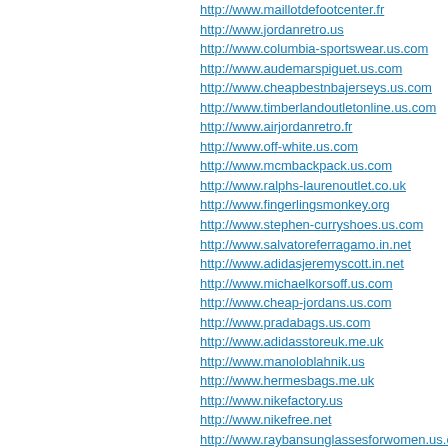http://www.maillotdefootcenter.fr
http://www.jordanretro.us
http://www.columbia-sportswear.us.com
http://www.audemarspiguet.us.com
http://www.cheapbestnbajerseys.us.com
http://www.timberlandoutletonline.us.com
http://www.airjordanretro.fr
http://www.off-white.us.com
http://www.mcmbackpack.us.com
http://www.ralphs-laurenoutlet.co.uk
http://www.fingerlingsmonkey.org
http://www.stephen-curryshoes.us.com
http://www.salvatoreferragamo.in.net
http://www.adidasjeremyscott.in.net
http://www.michaelkorsoff.us.com
http://www.cheap-jordans.us.com
http://www.pradabags.us.com
http://www.adidasstoreuk.me.uk
http://www.manoloblahnik.us
http://www.hermesbags.me.uk
http://www.nikefactory.us
http://www.nikefree.net
http://www.raybansunglassesforwomen.us.com
http://www.nikeairforce1.net
http://www.bottega.in.net